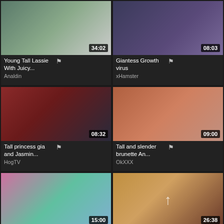[Figure (screenshot): Video thumbnail grid showing 6 video cards in 2-column layout with thumbnails, titles, durations, and source names]
Young Tall Lassie With Juicy...
Analdin
Giantess Growth virus
xHamster
Tall princess gia and Jasmin...
HogTV
Tall and slender brunette An...
OkXXX
15:00
26:38